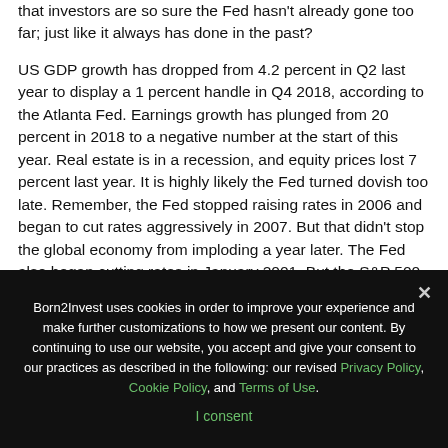that investors are so sure the Fed hasn't already gone too far; just like it always has done in the past?
US GDP growth has dropped from 4.2 percent in Q2 last year to display a 1 percent handle in Q4 2018, according to the Atlanta Fed. Earnings growth has plunged from 20 percent in 2018 to a negative number at the start of this year. Real estate is in a recession, and equity prices lost 7 percent last year. It is highly likely the Fed turned dovish too late. Remember, the Fed stopped raising rates in 2006 and began to cut rates aggressively in 2007. But that didn't stop the global economy from imploding a year later. The Fed also began cutting rates in January 2001. But the S&P 500
Born2Invest uses cookies in order to improve your experience and make further customizations to how we present our content. By continuing to use our website, you accept and give your consent to our practices as described in the following: our revised Privacy Policy, Cookie Policy, and Terms of Use.
I consent